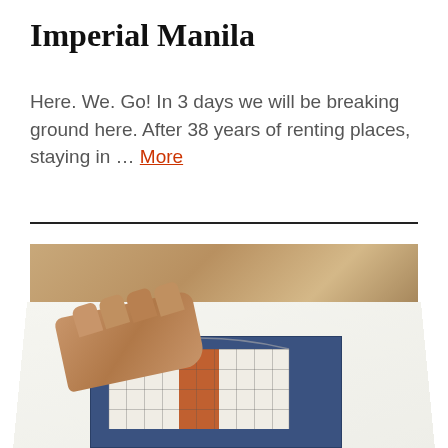Imperial Manila
Here. We. Go! In 3 days we will be breaking ground here. After 38 years of renting places, staying in … More
[Figure (photo): A hand resting on a white surface next to an architectural blueprint/rendering showing a building facade with brown and white sections on a blue background, viewed at an angle on a desk.]